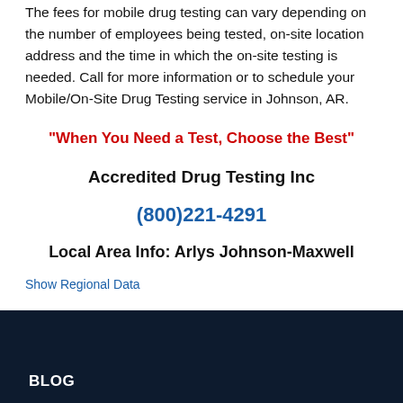The fees for mobile drug testing can vary depending on the number of employees being tested, on-site location address and the time in which the on-site testing is needed. Call for more information or to schedule your Mobile/On-Site Drug Testing service in Johnson, AR.
"When You Need a Test, Choose the Best"
Accredited Drug Testing Inc
(800)221-4291
Local Area Info: Arlys Johnson-Maxwell
Show Regional Data
BLOG